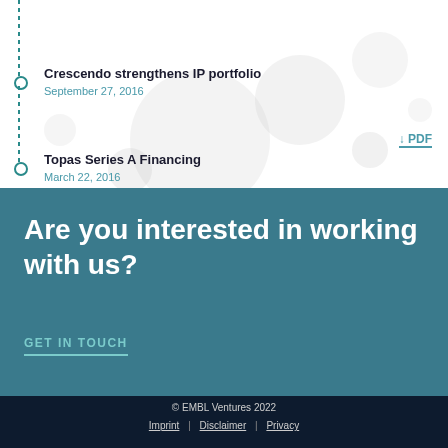Crescendo strengthens IP portfolio
September 27, 2016
Topas Series A Financing
March 22, 2016
Are you interested in working with us?
GET IN TOUCH
© EMBL Ventures 2022
Imprint | Disclaimer | Privacy